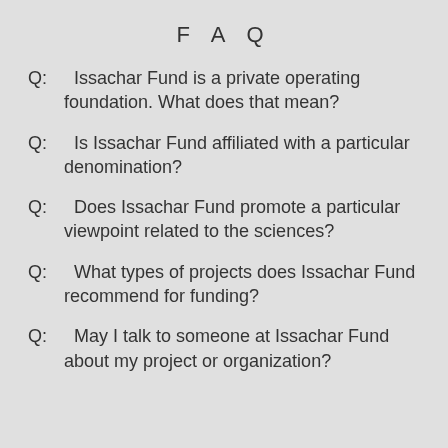F A Q
Q:  Issachar Fund is a private operating foundation. What does that mean?
Q:  Is Issachar Fund affiliated with a particular denomination?
Q:  Does Issachar Fund promote a particular viewpoint related to the sciences?
Q:  What types of projects does Issachar Fund recommend for funding?
Q:  May I talk to someone at Issachar Fund about my project or organization?